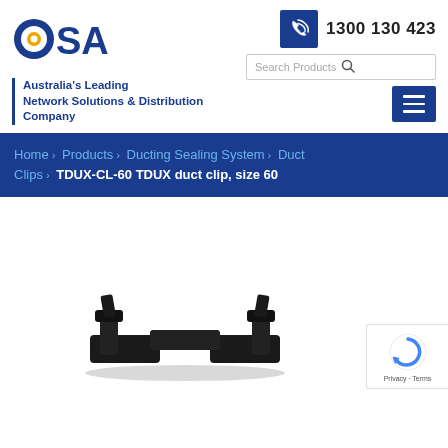[Figure (logo): OSA (CSA) company logo - blue circular letters with yellow/orange dot]
1300 130 423
Search Products
Australia's Leading Network Solutions & Distribution Company
Home > Products > Ducting Sealing System > Duct Clips > TDUX-CL-60 TDUX duct clip, size 60
[Figure (photo): Black plastic TDUX duct clip, size 60, photographed on white background]